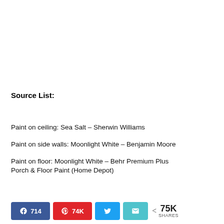Source List:
Paint on ceiling: Sea Salt – Sherwin Williams
Paint on side walls: Moonlight White – Benjamin Moore
Paint on floor: Moonlight White – Behr Premium Plus Porch & Floor Paint (Home Depot)
714  74K  [Twitter share]  [Email share]  75K SHARES